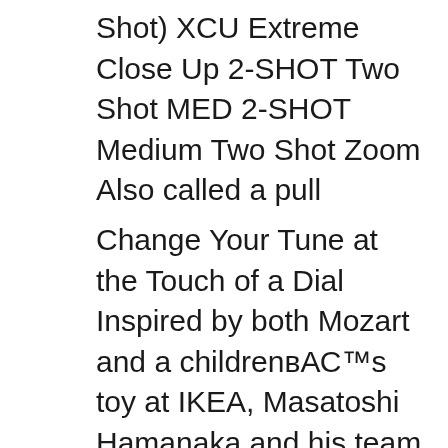Shot) XCU Extreme Close Up 2-SHOT Two Shot MED 2-SHOT Medium Two Shot Zoom Also called a pull
Change Your Tune at the Touch of a Dial Inspired by both Mozart and a childrenвЂ™s toy at IKEA, Masatoshi Hamanaka and his team developed вЂњMelody Slot Machine,вЂќ a device able to generate unique melodies at the touch of a dial, and presented their creation at SIGGRAPH вЂ¦ Camera angle. Low angle shots, where the camera points upwards from below, make people (and things) look bigger, more courageous and more important. These shots are also good for filming people who are looking down at things